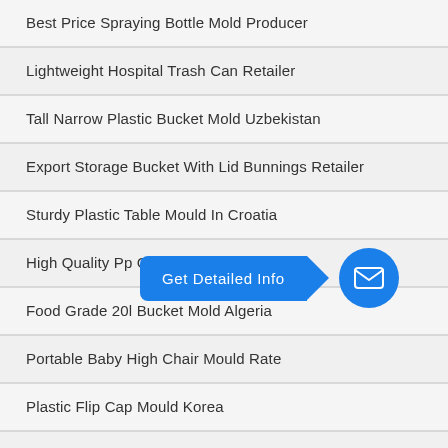Best Price Spraying Bottle Mold Producer
Lightweight Hospital Trash Can Retailer
Tall Narrow Plastic Bucket Mold Uzbekistan
Export Storage Bucket With Lid Bunnings Retailer
Sturdy Plastic Table Mould In Croatia
High Quality Pp Cap Mould On Sale
Food Grade 20l Bucket Mold Algeria
Portable Baby High Chair Mould Rate
Plastic Flip Cap Mould Korea
Good Price Rectangle Bucket With Lid On Sale